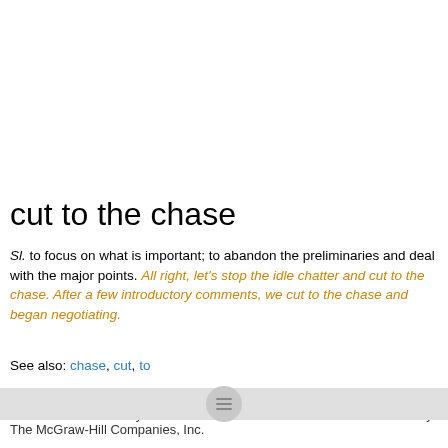cut to the chase
Sl. to focus on what is important; to abandon the preliminaries and deal with the major points. All right, let's stop the idle chatter and cut to the chase. After a few introductory comments, we cut to the chase and began negotiating.
See also: chase, cut, to
"CITE" McGraw-Hill Dictionary of American Idioms and Phrasal Verbs. © 2002 by The McGraw-Hill Companies, Inc.